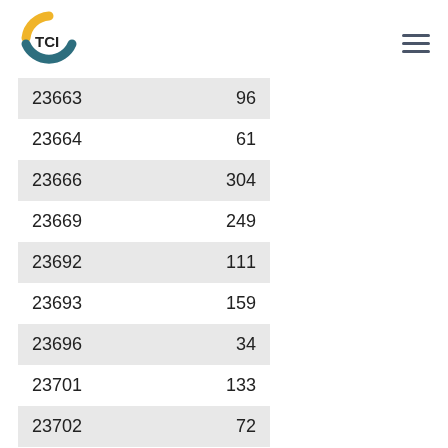TCI logo and navigation
| 23663 | 96 |
| 23664 | 61 |
| 23666 | 304 |
| 23669 | 249 |
| 23692 | 111 |
| 23693 | 159 |
| 23696 | 34 |
| 23701 | 133 |
| 23702 | 72 |